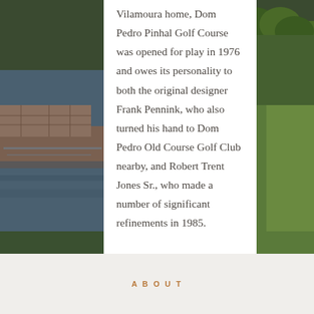[Figure (photo): Golf course landscape photo showing green fairways, a water feature with stone wall, and trees. Photo spans the background of the upper portion of the page, partially obscured by a white content card overlay.]
Vilamoura home, Dom Pedro Pinhal Golf Course was opened for play in 1976 and owes its personality to both the original designer Frank Pennink, who also turned his hand to Dom Pedro Old Course Golf Club nearby, and Robert Trent Jones Sr., who made a number of significant refinements in 1985.
ABOUT